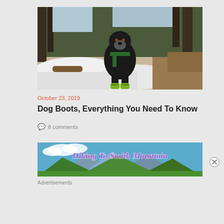[Figure (photo): Black Labrador dog wearing yellow boots standing on a snowy trail in a forest with pine trees and rocks]
October 23, 2019
Dog Boots, Everything You Need To Know
8 comments
[Figure (photo): Banner image of mountains with text 'Hiking To Smith Mountain' in purple script font]
Advertisements